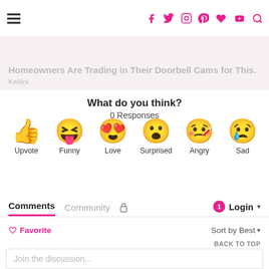Social media navigation bar with hamburger menu and icons: Facebook, Twitter, Instagram, Pinterest, Heart, YouTube, Search
Homeowners Are Trading in Their Doorbell Cams for This.
Keillini
What do you think?
0 Responses
[Figure (infographic): Six emoji reaction buttons: Upvote (thumbs up), Funny (laughing face), Love (heart eyes), Surprised (open mouth), Angry (crying face), Sad (crying with tear)]
Comments  Community  [lock icon]  [notification badge: 1]  Login
♡ Favorite
Sort by Best ▾
BACK TO TOP
Join the discussion...